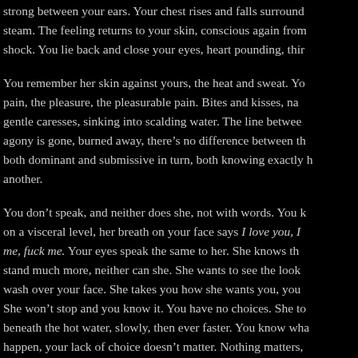strong between your ears. Your chest rises and falls surround steam. The feeling returns to your skin, conscious again from shock. You lie back and close your eyes, heart pounding, thir
You remember her skin against yours, the heat and sweat. Yo pain, the pleasure, the pleasurable pain. Bites and kisses, na gentle caresses, sinking into scalding water. The line betwee agony is gone, burned away, there's no difference between th both dominant and submissive in turn, both knowing exactly h another.
You don't speak, and neither does she, not with words. You k on a visceral level, her breath on your face says I love you, I me, fuck me. Your eyes speak the same to her. She knows th stand much more, neither can she. She wants to see the look wash over your face. She takes you how she wants you, you She won't stop and you know it. You have no choices. She to beneath the hot water, slowly, then ever faster. You know wha happen, your lack of choice doesn't matter. Nothing matters, touch and the look in her eyes. Beautiful, sinful, perfect.